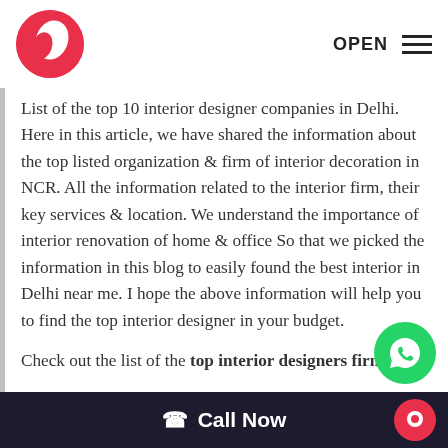[Figure (logo): Red circle logo with white shape inside, resembling the Sulekha brand logo]
OPEN
List of the top 10 interior designer companies in Delhi. Here in this article, we have shared the information about the top listed organization & firm of interior decoration in NCR. All the information related to the interior firm, their key services & location. We understand the importance of interior renovation of home & office So that we picked the information in this blog to easily found the best interior in Delhi near me. I hope the above information will help you to find the top interior designer in your budget.
[Figure (logo): WhatsApp green circle button with phone/chat icon]
Check out the list of the top interior designers firm
📞 Call Now